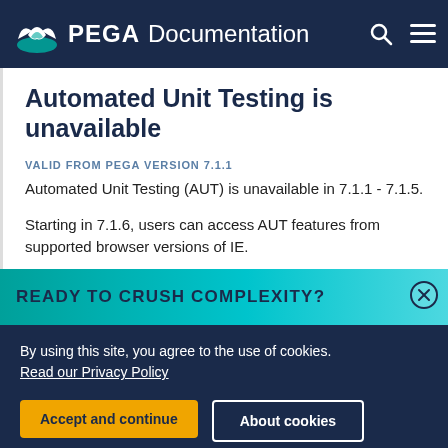PEGA Documentation
Automated Unit Testing is unavailable
VALID FROM PEGA VERSION 7.1.1
Automated Unit Testing (AUT) is unavailable in 7.1.1 - 7.1.5.
Starting in 7.1.6, users can access AUT features from supported browser versions of IE.
READY TO CRUSH COMPLEXITY?
By using this site, you agree to the use of cookies. Read our Privacy Policy
Accept and continue
About cookies